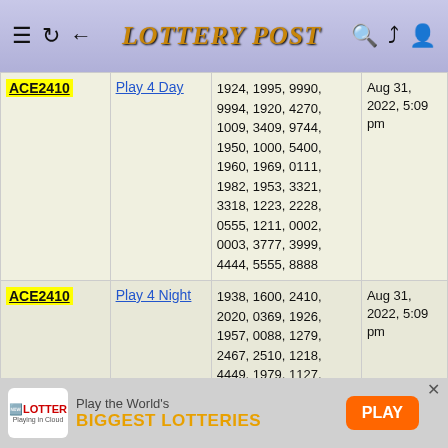LOTTERY POST
| User | Game | Numbers | Date |
| --- | --- | --- | --- |
| ACE2410 | Play 4 Day | 1924, 1995, 9990, 9994, 1920, 4270, 1009, 3409, 9744, 1950, 1000, 5400, 1960, 1969, 0111, 1982, 1953, 3321, 3318, 1223, 2228, 0555, 1211, 0002, 0003, 3777, 3999, 4444, 5555, 8888 | Aug 31, 2022, 5:09 pm |
| ACE2410 | Play 4 Night | 1938, 1600, 2410, 2020, 0369, 1926, 1957, 0088, 1279, 2467, 2510, 1218, 4449, 1979, 1127, 0389, 3834, 3338, 1010, 8102, 1924, 1995, 9990, 9994, 1920, 4270, 1009, 3409, 9744, 1950, 1000, 5400, 1960, 1969, 0111, 1982, 1953, 3321, 3318, 1223, 2228, 0555, 1211, 0002... | Aug 31, 2022, 5:09 pm |
[Figure (infographic): Advertisement banner: The Lotter - Play the World's BIGGEST LOTTERIES with PLAY button]